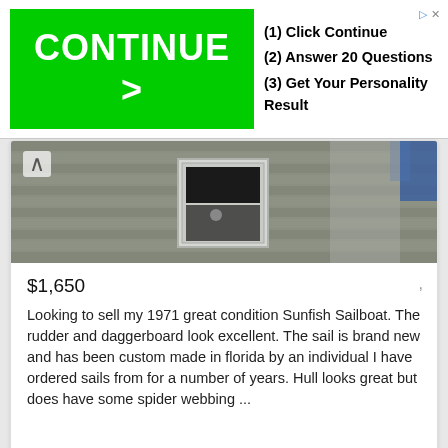[Figure (infographic): Advertisement banner with green CONTINUE > button, and steps: (1) Click Continue, (2) Answer 20 Questions, (3) Get Your Personality Result]
[Figure (photo): Partial photo of a boat/dock structure viewed from above, showing wooden deck planks, a white door/hatch, and what appears to be a blue boat hull edge]
$1,650
Looking to sell my 1971 great condition Sunfish Sailboat. The rudder and daggerboard look excellent. The sail is brand new and has been custom made in florida by an individual I have ordered sails from for a number of years. Hull looks great but does have some spider webbing ...